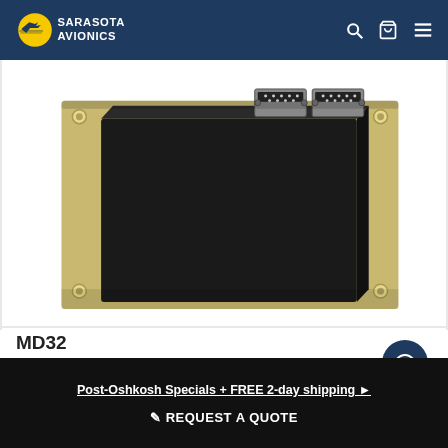Sarasota Avionics
[Figure (photo): Aviation electronics unit (MD32) showing a black rectangular metal enclosure mounted on a gold/tan mounting plate with four corner holes, with two DB-9 serial connectors visible on the top edge, photographed from above at an angle.]
MD32
Mid-Continent Instr & Avionics
Part #: 6420032-1
$1,139.00
Post-Oshkosh Specials + FREE 2-day shipping ▶
✏ REQUEST A QUOTE